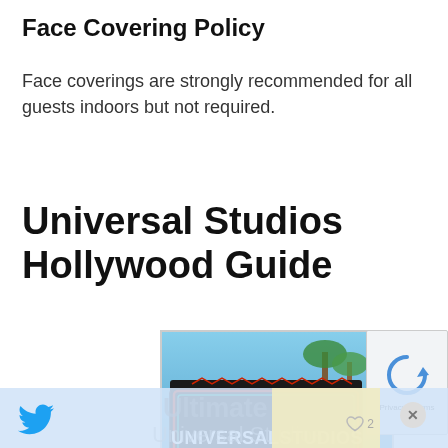Face Covering Policy
Face coverings are strongly recommended for all guests indoors but not required.
Universal Studios Hollywood Guide
[Figure (photo): Universal Studios Hollywood sign with neon lettering on a dark marquee-style sign, palm trees visible in background, clear blue sky, with a pool area below]
Ultimate Universal Studios
[Figure (other): reCAPTCHA widget with blue arrow icon and Privacy - Terms text]
Twitter icon, heart/like icon with count 2, close button (X)